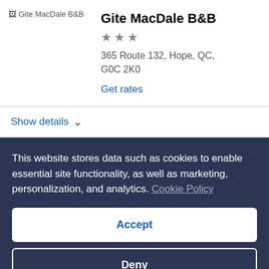[Figure (photo): Placeholder image for Gite MacDale B&B hotel listing]
Gite MacDale B&B
★★★
365 Route 132, Hope, QC, G0C 2K0
Get rates
Show details
This website stores data such as cookies to enable essential site functionality, as well as marketing, personalization, and analytics. Cookie Policy
Accept
Deny